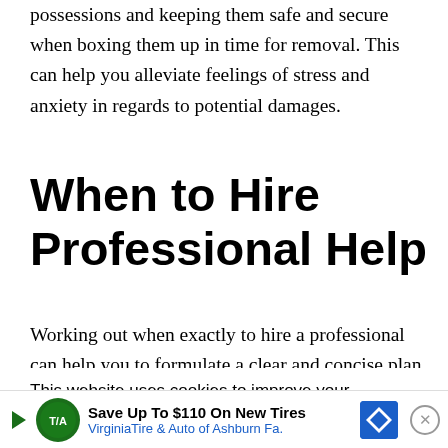possessions and keeping them safe and secure when boxing them up in time for removal. This can help you alleviate feelings of stress and anxiety in regards to potential damages.
When to Hire Professional Help
Working out when exactly to hire a professional can help you to formulate a clear and concise plan
This website uses cookies to improve your experience. We'll assume you're ok with this, but you can opt-out if you wish.
[Figure (other): Advertisement banner: Save Up To $110 On New Tires – Virginia Tire & Auto of Ashburn Fa. with logo icons and close button]